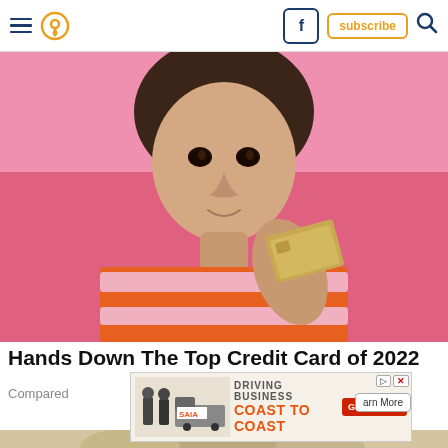Navigation header with hamburger menu, location pin, Facebook button, subscribe button, search icon
[Figure (photo): Young woman with dark hair and bangs wearing an orange and pink striped top, holding a golden credit card near her face, against a pink background]
Hands Down The Top Credit Card of 2022
Compared
[Figure (photo): Advertisement: SAIA truck - DRIVING BUSINESS COAST TO COAST with GET QUOTE button]
[Figure (photo): Bottom image partial view of sandy/desert background with vehicle]